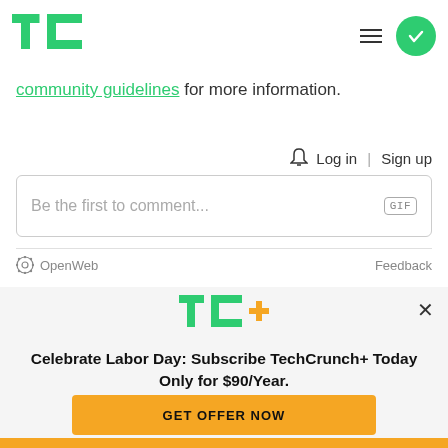[Figure (logo): TechCrunch TC logo in green, top left]
community guidelines for more information.
Log in | Sign up
Be the first to comment...
OpenWeb   Feedback
[Figure (logo): TC+ TechCrunch Plus logo with yellow plus sign]
Celebrate Labor Day: Subscribe TechCrunch+ Today Only for $90/Year.
GET OFFER NOW